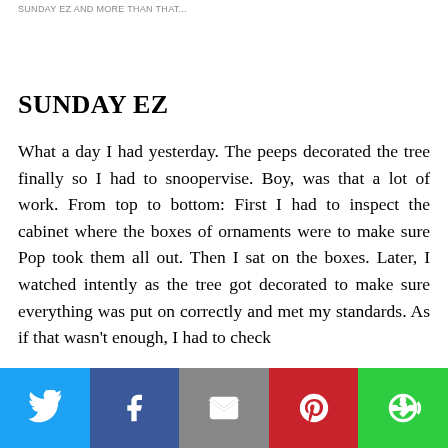SUNDAY EZ AND MORE THAN THAT...
SUNDAY EZ
What a day I had yesterday. The peeps decorated the tree finally so I had to snoopervise. Boy, was that a lot of work. From top to bottom: First I had to inspect the cabinet where the boxes of ornaments were to make sure Pop took them all out. Then I sat on the boxes. Later, I watched intently as the tree got decorated to make sure everything was put on correctly and met my standards. As if that wasn't enough, I had to check